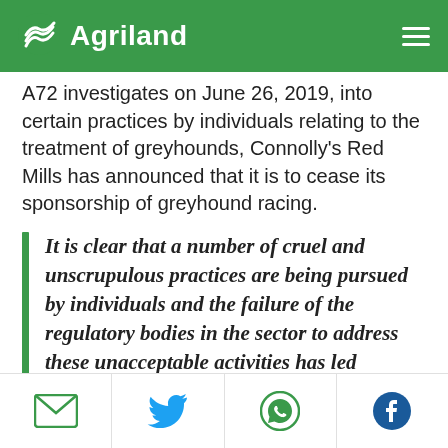Agriland
A72 investigates on June 26, 2019, into certain practices by individuals relating to the treatment of greyhounds, Connolly’s Red Mills has announced that it is to cease its sponsorship of greyhound racing.
It is clear that a number of cruel and unscrupulous practices are being pursued by individuals and the failure of the regulatory bodies in the sector to address these unacceptable activities has led Connolly’s Red Mills to make this decision.
“Connolly’s Red Mills prides itself in providing the